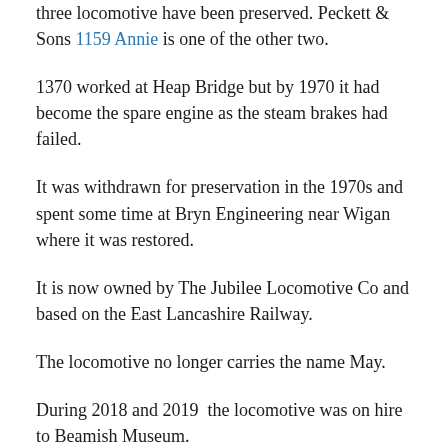three locomotive have been preserved. Peckett & Sons 1159 Annie is one of the other two.
1370 worked at Heap Bridge but by 1970 it had become the spare engine as the steam brakes had failed.
It was withdrawn for preservation in the 1970s and spent some time at Bryn Engineering near Wigan where it was restored.
It is now owned by The Jubilee Locomotive Co and based on the East Lancashire Railway.
The locomotive no longer carries the name May.
During 2018 and 2019  the locomotive was on hire to Beamish Museum.